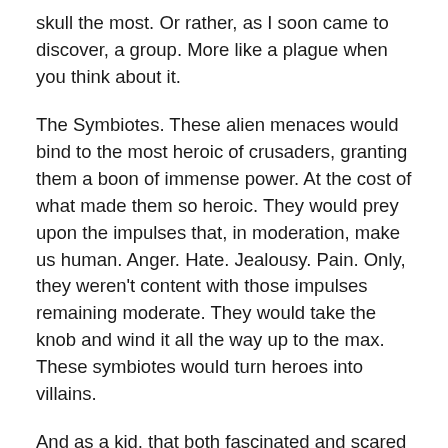skull the most. Or rather, as I soon came to discover, a group. More like a plague when you think about it.
The Symbiotes. These alien menaces would bind to the most heroic of crusaders, granting them a boon of immense power. At the cost of what made them so heroic. They would prey upon the impulses that, in moderation, make us human. Anger. Hate. Jealousy. Pain. Only, they weren't content with those impulses remaining moderate. They would take the knob and wind it all the way up to the max. These symbiotes would turn heroes into villains.
And as a kid, that both fascinated and scared the ever living hell out of me. These beings were like the zombie virus storylines on adrenaline. They don't just turn you into a monster. They do it slowly. They whittle away at who you are, amplifying the parts you'd rather forget and minimizing the aspects you